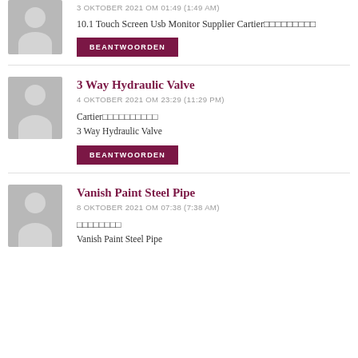[Figure (photo): Avatar placeholder image for first commenter]
3 OKTOBER 2021 OM 01:49 (1:49 AM)
10.1 Touch Screen Usb Monitor Supplier Cartier□□□□□□□□□
BEANTWOORDEN
3 Way Hydraulic Valve
[Figure (photo): Avatar placeholder image for second commenter]
4 OKTOBER 2021 OM 23:29 (11:29 PM)
Cartier□□□□□□□□□□
3 Way Hydraulic Valve
BEANTWOORDEN
Vanish Paint Steel Pipe
[Figure (photo): Avatar placeholder image for third commenter]
8 OKTOBER 2021 OM 07:38 (7:38 AM)
□□□□□□□□
Vanish Paint Steel Pipe